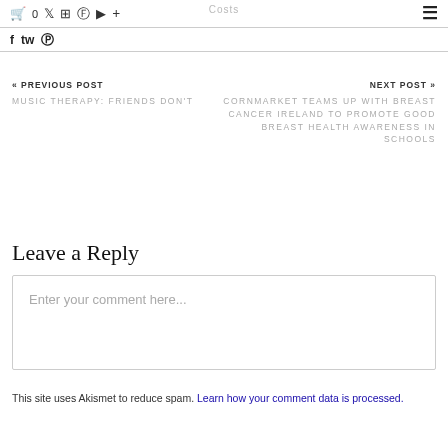Costs  🛒 0  Twitter  Instagram  Facebook  YouTube  +  ☰
f  tw  Pinterest
« PREVIOUS POST
MUSIC THERAPY: FRIENDS DON'T
NEXT POST »
CORNMARKET TEAMS UP WITH BREAST CANCER IRELAND TO PROMOTE GOOD BREAST HEALTH AWARENESS IN SCHOOLS
Leave a Reply
Enter your comment here...
This site uses Akismet to reduce spam. Learn how your comment data is processed.